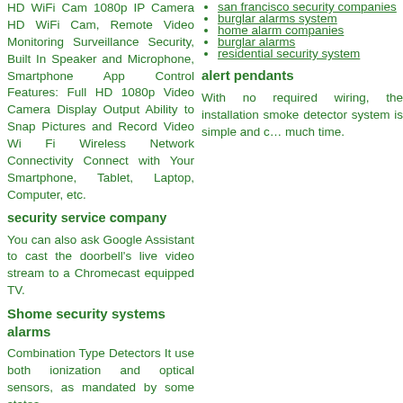HD WiFi Cam 1080p IP Camera HD WiFi Cam, Remote Video Monitoring Surveillance Security, Built In Speaker and Microphone, Smartphone App Control Features: Full HD 1080p Video Camera Display Output Ability to Snap Pictures and Record Video Wi Fi Wireless Network Connectivity Connect with Your Smartphone, Tablet, Laptop, Computer, etc.
security service company
You can also ask Google Assistant to cast the doorbell's live video stream to a Chromecast equipped TV.
Shome security systems alarms
Combination Type Detectors It use both ionization and optical sensors, as mandated by some states.
san francisco security companies
burglar alarms system
home alarm companies
burglar alarms
residential security system
alert pendants
With no required wiring, the installation smoke detector system is simple and c… much time.